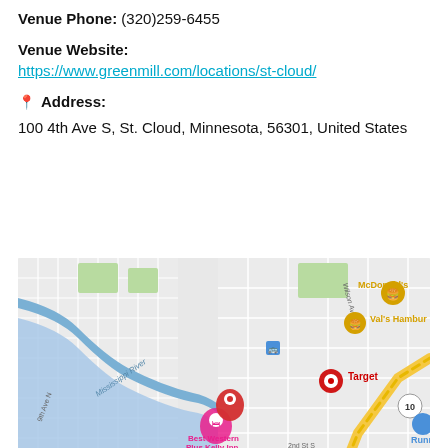Venue Phone: (320)259-6455
Venue Website:
https://www.greenmill.com/locations/st-cloud/
📍 Address:
100 4th Ave S, St. Cloud, Minnesota, 56301, United States
[Figure (map): Google Maps screenshot showing St. Cloud, Minnesota area with Mississippi River, showing location pin near Best Western Plus Kelly Inn, with nearby landmarks including McDonald's, Val's Hamburg, Target, and street labels including Wilson Ave NE, Germain St, 9th Ave N, 2nd St S.]